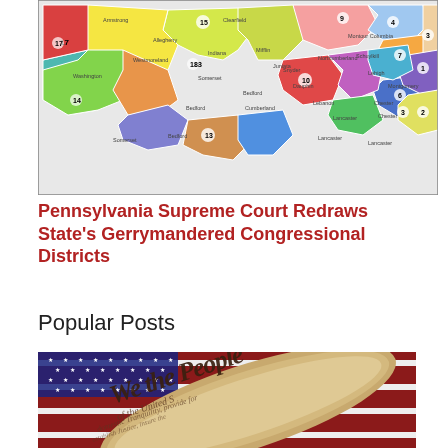[Figure (map): Pennsylvania congressional district map showing 18 gerrymandered districts in various colors (red, pink, yellow, purple, teal, blue, green, brown, orange). Districts are numbered 1-18 and labeled with county names throughout the state.]
Pennsylvania Supreme Court Redraws State's Gerrymandered Congressional Districts
Popular Posts
[Figure (photo): Photo of the U.S. Constitution 'We the People' preamble text on aged parchment paper, rolled open, with an American flag visible in the background.]